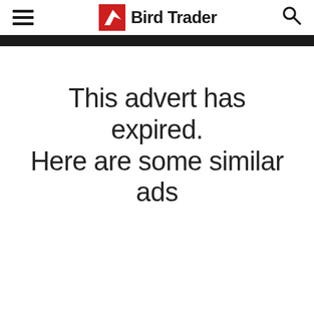Bird Trader
This advert has expired. Here are some similar ads